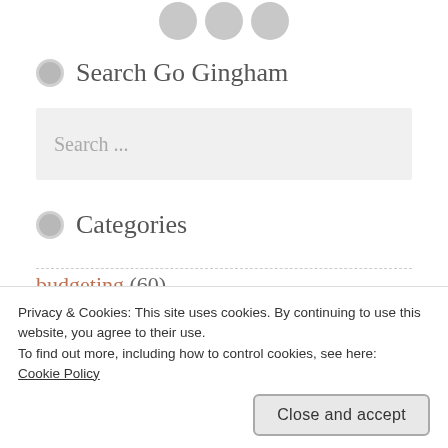[Figure (illustration): Three circular social media icon buttons in gray at the top of the page]
Search Go Gingham
Search ...
Categories
budgeting (60)
Privacy & Cookies: This site uses cookies. By continuing to use this website, you agree to their use.
To find out more, including how to control cookies, see here:
Cookie Policy
Close and accept